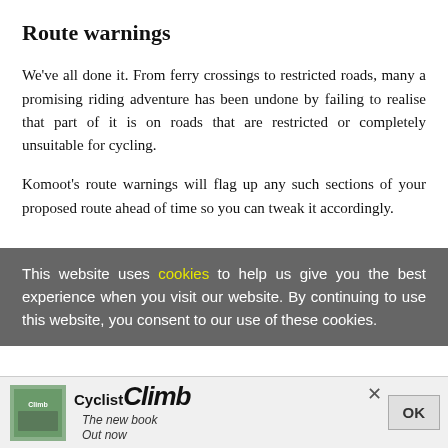Route warnings
We've all done it. From ferry crossings to restricted roads, many a promising riding adventure has been undone by failing to realise that part of it is on roads that are restricted or completely unsuitable for cycling.
Komoot's route warnings will flag up any such sections of your proposed route ahead of time so you can tweak it accordingly.
This website uses cookies to help us give you the best experience when you visit our website. By continuing to use this website, you consent to our use of these cookies.
[Figure (other): Advertisement banner for Cyclist Climb book with small book cover image, brand name, and tagline 'The new book Out now', with a close button and OK button]